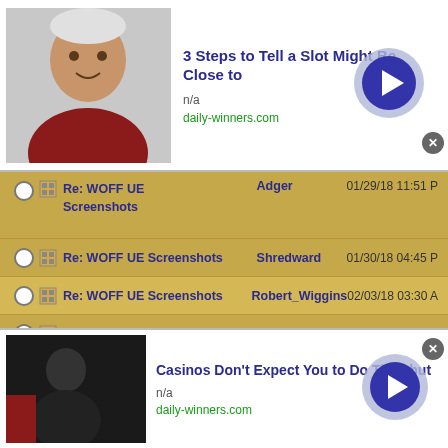[Figure (screenshot): Top advertisement banner with photo of elderly man, title '3 Steps to Tell a Slot Might Be Close to', source n/a, domain daily-winners.com, with blue arrow button and close X button]
Re: WOFF UE Screenshots | Adger | 01/29/18 11:51 PM
Re: WOFF UE Screenshots | Shredward | 01/30/18 04:45 PM
Re: WOFF UE Screenshots | Robert_Wiggins | 02/03/18 03:30 AM
Re: WOFF UE Screenshots | Trooper117 | 02/03/18 11:34 AM
Re: WOFF UE Screenshots | DukeIronHand | 02/03/18 11:56 AM
Re: WOFF UE Screenshots | Adger | 02/03/18 02:13 PM
Re: WOFF UE Screenshots | Robert_Wiggins | 02/03/18 02:27 PM
Re: WOFF UE Screenshots | Adger | 02/03/18 02:38 PM
[Figure (screenshot): Bottom advertisement banner with dark photo, title 'Casinos Don't Expect You to Do This; but', source n/a, domain daily-winners.com, with blue arrow button and close X button]